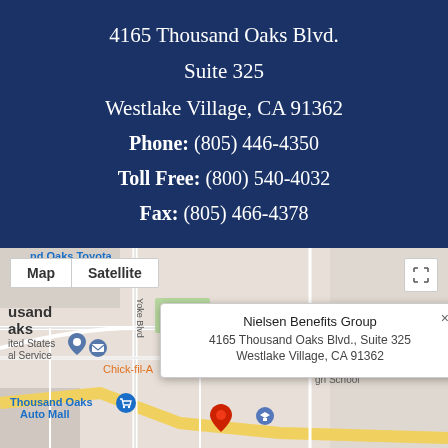4165 Thousand Oaks Blvd.
Suite 325
Westlake Village, CA 91362
Phone: (805) 446-4350
Toll Free: (800) 540-4032
Fax: (805) 466-4378
[Figure (map): Google Maps screenshot showing location of Nielsen Benefits Group at 4165 Thousand Oaks Blvd., Suite 325, Westlake Village, CA 91362. Map/Satellite toggle visible at top left. Info popup shows business name and address. Red location pin marks the site.]